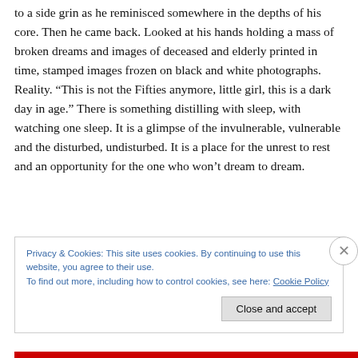to a side grin as he reminisced somewhere in the depths of his core. Then he came back. Looked at his hands holding a mass of broken dreams and images of deceased and elderly printed in time, stamped images frozen on black and white photographs. Reality. “This is not the Fifties anymore, little girl, this is a dark day in age.” There is something distilling with sleep, with watching one sleep. It is a glimpse of the invulnerable, vulnerable and the disturbed, undisturbed. It is a place for the unrest to rest and an opportunity for the one who won’t dream to dream.
Privacy & Cookies: This site uses cookies. By continuing to use this website, you agree to their use. To find out more, including how to control cookies, see here: Cookie Policy